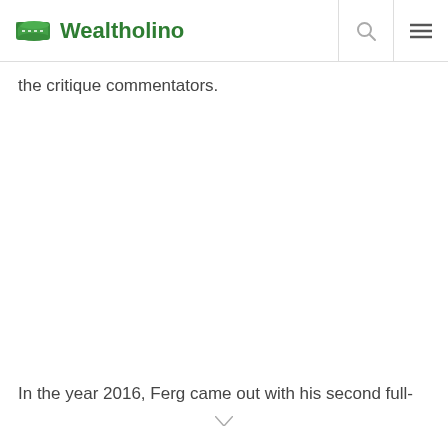Wealtholino
the critique commentators.
In the year 2016, Ferg came out with his second full-